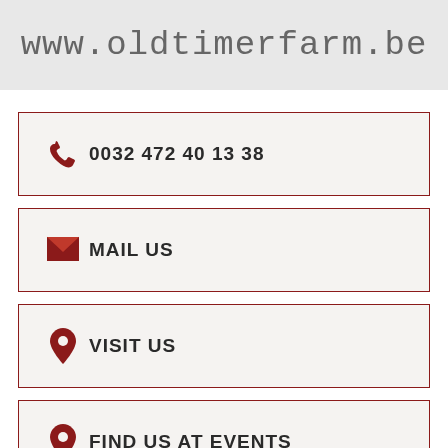[Figure (screenshot): Website banner with text www.oldtimerfarm.be in monospace font on light gray background]
0032 472 40 13 38
MAIL US
VISIT US
FIND US AT EVENTS
Reference